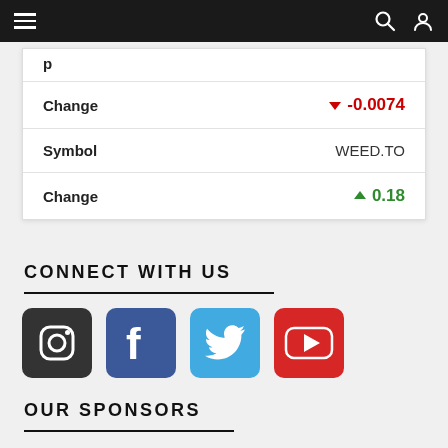Navigation bar with hamburger menu, search, and user icons
| Label | Value |
| --- | --- |
| Change | -0.0074 |
| Symbol | WEED.TO |
| Change | 0.18 |
CONNECT WITH US
[Figure (infographic): Row of four social media icons: Instagram (dark), Facebook (blue), Twitter (blue), YouTube (red)]
OUR SPONSORS